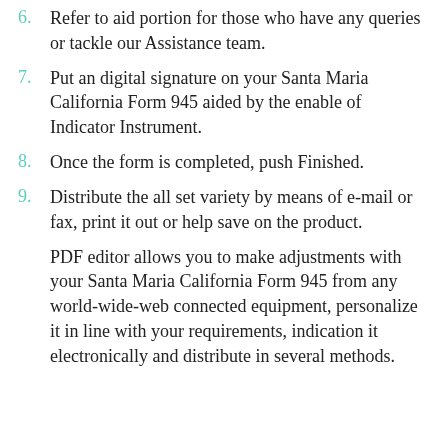6. Refer to aid portion for those who have any queries or tackle our Assistance team.
7. Put an digital signature on your Santa Maria California Form 945 aided by the enable of Indicator Instrument.
8. Once the form is completed, push Finished.
9. Distribute the all set variety by means of e-mail or fax, print it out or help save on the product.
PDF editor allows you to make adjustments with your Santa Maria California Form 945 from any world-wide-web connected equipment, personalize it in line with your requirements, indication it electronically and distribute in several methods.